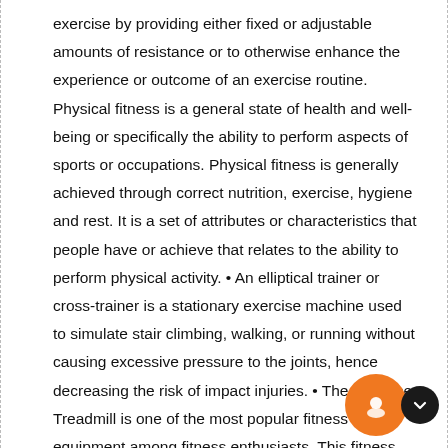exercise by providing either fixed or adjustable amounts of resistance or to otherwise enhance the experience or outcome of an exercise routine. Physical fitness is a general state of health and well-being or specifically the ability to perform aspects of sports or occupations. Physical fitness is generally achieved through correct nutrition, exercise, hygiene and rest. It is a set of attributes or characteristics that people have or achieve that relates to the ability to perform physical activity. • An elliptical trainer or cross-trainer is a stationary exercise machine used to simulate stair climbing, walking, or running without causing excessive pressure to the joints, hence decreasing the risk of impact injuries. • The Exercise Treadmill is one of the most popular fitness equipment among fitness enthusiasts. This fitness machine is indoor sporting equipment which is used for walking or running exercises while in a stationary position. • A stationary also known as exercise bicycle, exercise bike is a device with saddle,